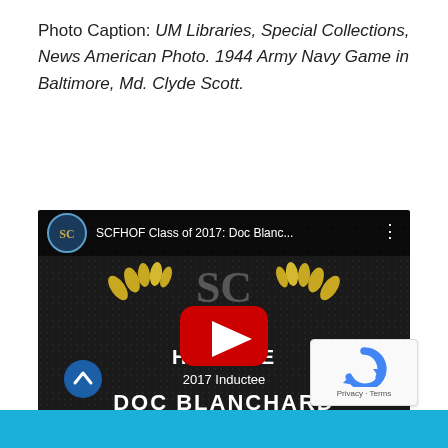Photo Caption: UM Libraries, Special Collections, News American Photo. 1944 Army Navy Game in Baltimore, Md. Clyde Scott.
[Figure (screenshot): YouTube video thumbnail for 'SCFHOF Class of 2017: Doc Blanchard' showing a Football Hall of Fame 2017 Inductee card for Doc Blanchard with gold laurels, SC letters, and a YouTube play button overlay on dark background.]
[Figure (other): reCAPTCHA badge with Privacy and Terms links in bottom right corner]
[Figure (other): Scroll-to-top button (blue circle with up chevron) in bottom left]